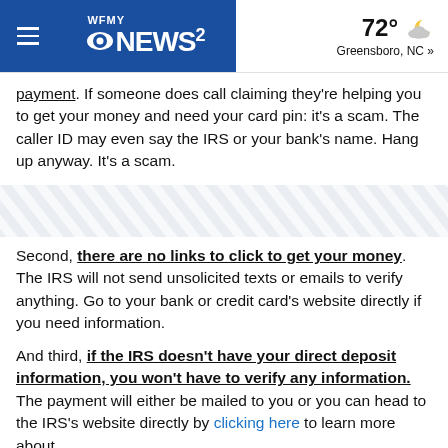WFMY NEWS 2 | 72° Greensboro, NC »
payment. If someone does call claiming they're helping you to get your money and need your card pin: it's a scam. The caller ID may even say the IRS or your bank's name. Hang up anyway. It's a scam.
[Figure (other): Diagonal stripe decorative divider banner]
Second, there are no links to click to get your money. The IRS will not send unsolicited texts or emails to verify anything. Go to your bank or credit card's website directly if you need information.
And third, if the IRS doesn't have your direct deposit information, you won't have to verify any information. The payment will either be mailed to you or you can head to the IRS's website directly by clicking here to learn more about